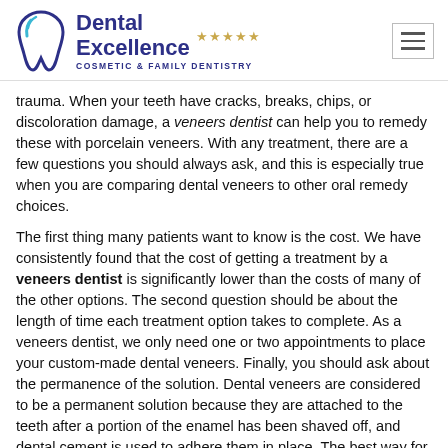[Figure (logo): Dental Excellence logo with tooth icon, five gold stars, and tagline COSMETIC & FAMILY DENTISTRY]
trauma. When your teeth have cracks, breaks, chips, or discoloration damage, a veneers dentist can help you to remedy these with porcelain veneers. With any treatment, there are a few questions you should always ask, and this is especially true when you are comparing dental veneers to other oral remedy choices.
The first thing many patients want to know is the cost. We have consistently found that the cost of getting a treatment by a veneers dentist is significantly lower than the costs of many of the other options. The second question should be about the length of time each treatment option takes to complete. As a veneers dentist, we only need one or two appointments to place your custom-made dental veneers. Finally, you should ask about the permanence of the solution. Dental veneers are considered to be a permanent solution because they are attached to the teeth after a portion of the enamel has been shaved off, and dental cement is used to adhere them in place. The best way for you to understand your exact needs and be able to compare available treatment options is to see a veneers dentist for a full evaluation and examination.